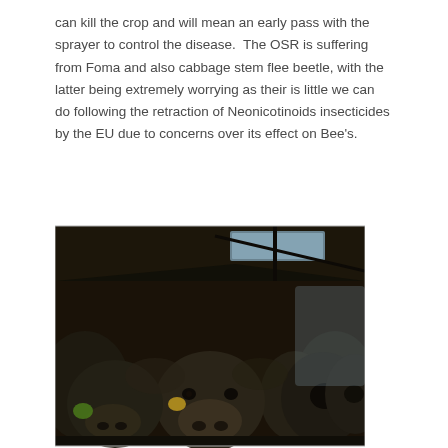can kill the crop and will mean an early pass with the sprayer to control the disease.  The OSR is suffering from Foma and also cabbage stem flee beetle, with the latter being extremely worrying as their is little we can do following the retraction of Neonicotinoids insecticides by the EU due to concerns over its effect on Bee's.
[Figure (photo): Photograph of black cattle crowded together under a barn roof, several facing the camera with ear tags visible.]
Livestock – well we are still waiting on the other two heifers to calve before the main herd, we will probably get 'The Scanning Lady' to come in to check that they are in calf for peace of mind.